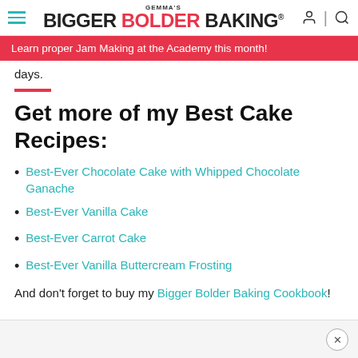GEMMA'S BIGGER BOLDER BAKING
Learn proper Jam Making at the Academy this month!
days.
Get more of my Best Cake Recipes:
Best-Ever Chocolate Cake with Whipped Chocolate Ganache
Best-Ever Vanilla Cake
Best-Ever Carrot Cake
Best-Ever Vanilla Buttercream Frosting
And don't forget to buy my Bigger Bolder Baking Cookbook!